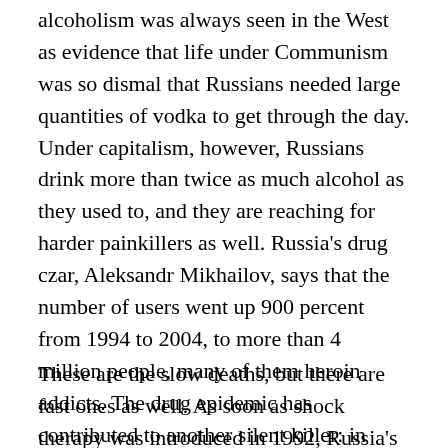alcoholism was always seen in the West as evidence that life under Communism was so dismal that Russians needed large quantities of vodka to get through the day. Under capitalism, however, Russians drink more than twice as much alcohol as they used to, and they are reaching for harder painkillers as well. Russia's drug czar, Aleksandr Mikhailov, says that the number of users went up 900 percent from 1994 to 2004, to more than 4 million people, many of them heroin addicts. The drug epidemic has contributed to another silent killer: in 1995, fifty thousand Russians were HIV positive, and in only two years that number doubled; ten years later, according to UNAIDS, nearly a million Russians were HIV positive.
These are the slow deaths, but there are fast ones as well. As soon as shock therapy was introduced in 1992, Russia's already high suicide rate began to